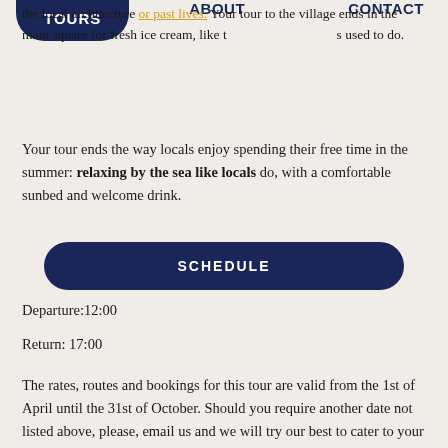the local architecture or past lives. Your tour to the village ends in the main square for fresh ice cream, like the locals used to do.
TOURS   ABOUT   CONTACT
Your tour ends the way locals enjoy spending their free time in the summer: relaxing by the sea like locals do, with a comfortable sunbed and welcome drink.
SCHEDULE
Departure:12:00
Return: 17:00
The rates, routes and bookings for this tour are valid from the 1st of April until the 31st of October. Should you require another date not listed above, please, email us and we will try our best to cater to your need.